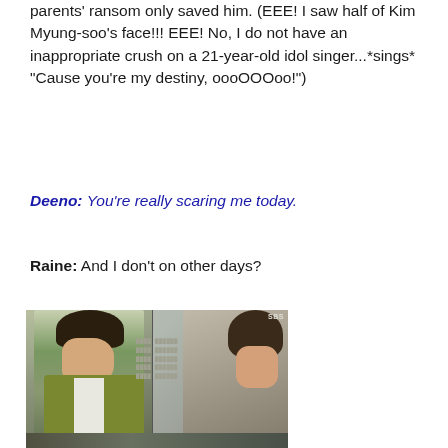parents' ransom only saved him. (EEE! I saw half of Kim Myung-soo's face!!! EEE! No, I do not have an inappropriate crush on a 21-year-old idol singer...*sings* "Cause you're my destiny, oooOOOoo!")
Deeno: You're really scaring me today.
Raine: And I don't on other days?
[Figure (screenshot): Screenshot from a Korean drama (SBS) showing a man in a yellow-green blazer on the left and a woman on the right, facing each other. SBS watermark visible in upper right corner.]
[Figure (screenshot): Bottom portion of another screenshot from the same Korean drama, partially visible.]